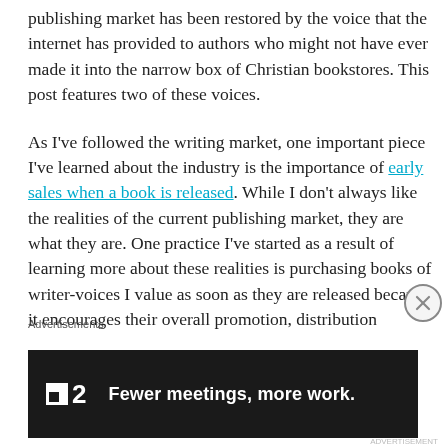publishing market has been restored by the voice that the internet has provided to authors who might not have ever made it into the narrow box of Christian bookstores. This post features two of these voices.
As I've followed the writing market, one important piece I've learned about the industry is the importance of early sales when a book is released. While I don't always like the realities of the current publishing market, they are what they are. One practice I've started as a result of learning more about these realities is purchasing books of writer-voices I value as soon as they are released because it encourages their overall promotion, distribution
Advertisements
[Figure (screenshot): Dark advertisement banner for Fewer meetings, more work. product, showing a logo mark with a small square icon and the number 2, followed by bold white text on black background.]